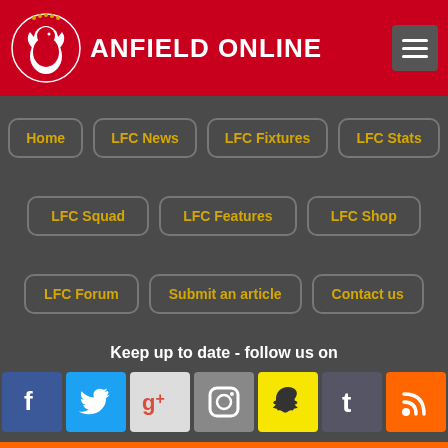Anfield Online
Home
LFC News
LFC Fixtures
LFC Stats
LFC Squad
LFC Features
LFC Shop
LFC Forum
Submit an article
Contact us
Keep up to date - follow us on
[Figure (infographic): Social media icons: Facebook, Twitter, Google+, Instagram, Snapchat, Tumblr, RSS]